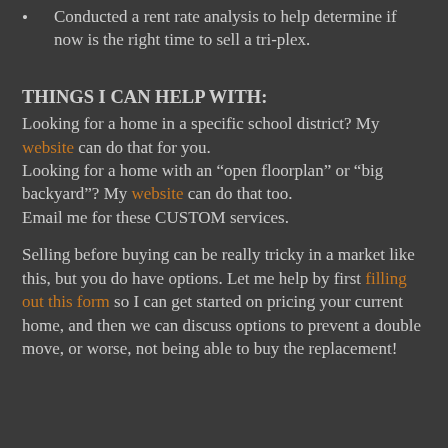Conducted a rent rate analysis to help determine if now is the right time to sell a tri-plex.
THINGS I CAN HELP WITH:
Looking for a home in a specific school district? My website can do that for you.
Looking for a home with an “open floorplan” or “big backyard”? My website can do that too.
Email me for these CUSTOM services.
Selling before buying can be really tricky in a market like this, but you do have options. Let me help by first filling out this form so I can get started on pricing your current home, and then we can discuss options to prevent a double move, or worse, not being able to buy the replacement!